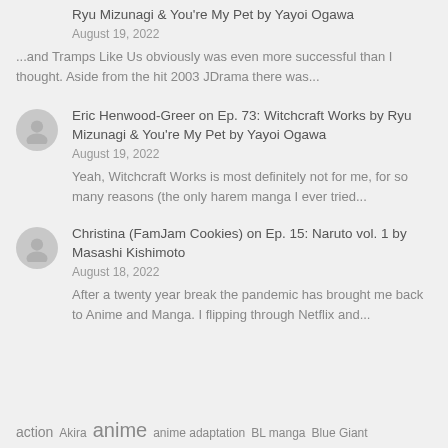Ryu Mizunagi & You're My Pet by Yayoi Ogawa
August 19, 2022
...and Tramps Like Us obviously was even more successful than I thought. Aside from the hit 2003 JDrama there was...
Eric Henwood-Greer on Ep. 73: Witchcraft Works by Ryu Mizunagi & You're My Pet by Yayoi Ogawa
August 19, 2022
Yeah, Witchcraft Works is most definitely not for me, for so many reasons (the only harem manga I ever tried...
Christina (FamJam Cookies) on Ep. 15: Naruto vol. 1 by Masashi Kishimoto
August 18, 2022
After a twenty year break the pandemic has brought me back to Anime and Manga. I flipping through Netflix and...
action
Akira
anime
anime adaptation
BL manga
Blue Giant